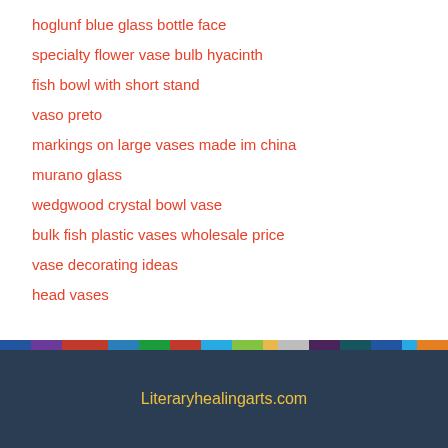hoglunf blue glass bottle face
specialty flower vase bulb hyacinth
fish bowl with short stand
vaso preto
markings on large vases made im china
murano glass
wedgwood crystal bowl vase
bulk fish plastic vases wholesale price
vase decorating ideas
head vases
Literaryhealingarts.com